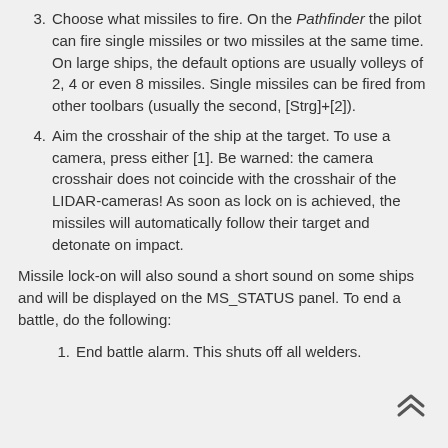3. Choose what missiles to fire. On the Pathfinder the pilot can fire single missiles or two missiles at the same time. On large ships, the default options are usually volleys of 2, 4 or even 8 missiles. Single missiles can be fired from other toolbars (usually the second, [Strg]+[2]).
4. Aim the crosshair of the ship at the target. To use a camera, press either [1]. Be warned: the camera crosshair does not coincide with the crosshair of the LIDAR-cameras! As soon as lock on is achieved, the missiles will automatically follow their target and detonate on impact.
Missile lock-on will also sound a short sound on some ships and will be displayed on the MS_STATUS panel. To end a battle, do the following:
1. End battle alarm. This shuts off all welders.